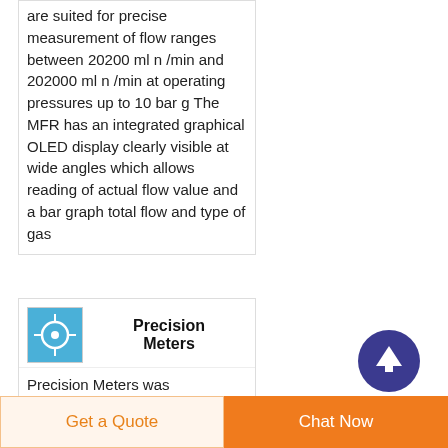are suited for precise measurement of flow ranges between 20200 ml n /min and 202000 ml n /min at operating pressures up to 10 bar g The MFR has an integrated graphical OLED display clearly visible at wide angles which allows reading of actual flow value and a bar graph total flow and type of gas
[Figure (other): Circular scroll-to-top button with upward arrow, dark blue/indigo background]
[Figure (photo): Small product image showing a blue background with a white circular object, representing Precision Meters product]
Precision Meters
Precision Meters was established in 2006 as a
Get a Quote    Chat Now